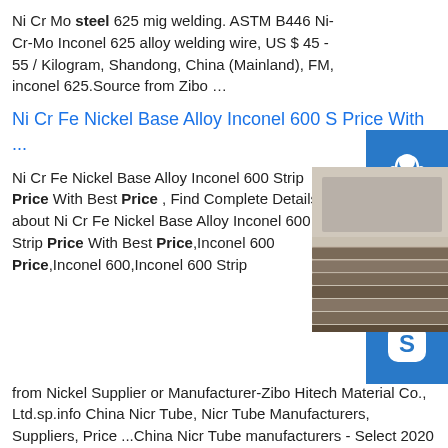Ni Cr Mo steel 625 mig welding. ASTM B446 Ni-Cr-Mo Inconel 625 alloy welding wire, US $ 45 - 55 / Kilogram, Shandong, China (Mainland), FM, inconel 625.Source from Zibo …
Ni Cr Fe Nickel Base Alloy Inconel 600 S Price With ...
Ni Cr Fe Nickel Base Alloy Inconel 600 Strip Price With Best Price , Find Complete Details about Ni Cr Fe Nickel Base Alloy Inconel 600 Strip Price With Best Price,Inconel 600 Price,Inconel 600,Inconel 600 Strip from Nickel Supplier or Manufacturer-Zibo Hitech Material Co., Ltd.sp.info China Nicr Tube, Nicr Tube Manufacturers, Suppliers, Price ...China Nicr Tube manufacturers - Select 2020 high quality Nicr Tube products in best price from certified
[Figure (photo): Photo of metal alloy strips/plates stacked outdoors]
[Figure (other): Blue sidebar button with headphone/support icon]
[Figure (other): Blue sidebar button with phone icon]
[Figure (other): Blue sidebar button with Skype icon]